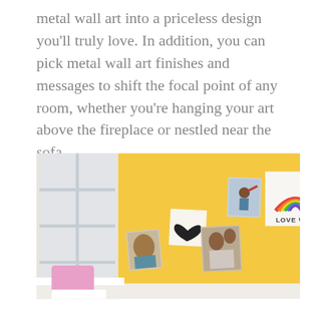metal wall art into a priceless design you'll truly love. In addition, you can pick metal wall art finishes and messages to shift the focal point of any room, whether you're hanging your art above the fireplace or nestled near the sofa.
[Figure (photo): A yellow wall with multiple metal wall art prints hung on it, including a portrait of a child, a heart design, a photo of a mother with baby, a person with a toy airplane, and a 'LOVE WINS' rainbow print. A pink pillow is visible on a white surface in the bottom left corner, and a window is partially visible on the left.]